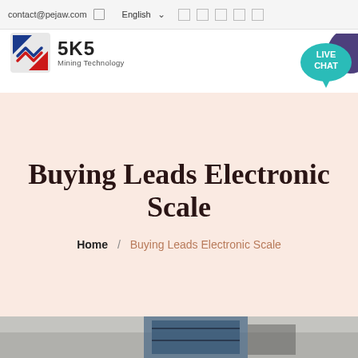contact@pejaw.com  English  [icons]
[Figure (logo): SKS Mining Technology logo with red and blue diamond-shaped icon and text 'SKS Mining Technology']
[Figure (other): Live Chat button - teal speech bubble with text 'LIVE CHAT' and dark purple decorative shape]
Buying Leads Electronic Scale
Home / Buying Leads Electronic Scale
[Figure (photo): Partial bottom image strip showing industrial equipment, partially cut off at bottom of page]